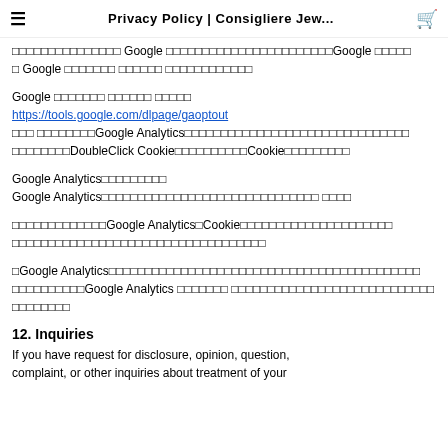Privacy Policy | Consigliere Jew...
□□□□□□□□□□□□□□□ Google □□□□□□□□□□□□□□□□□□□□□□□Google □□□□□ □ Google □□□□□□□ □□□□□□ □□□□□□□□□□□□
Google □□□□□□□ □□□□□□ □□□□□
https://tools.google.com/dlpage/gaoptout
□□□ □□□□□□□□Google Analytics□□□□□□□□□□□□□□□□□□□□□□□□□□□□□□□ □□□□□□□□DoubleClick Cookie□□□□□□□□□□Cookie□□□□□□□□□
Google Analytics□□□□□□□□□
Google Analytics□□□□□□□□□□□□□□□□□□□□□□□□□□□□□□ □□□□
□□□□□□□□□□□□□Google Analytics□Cookie□□□□□□□□□□□□□□□□□□□□□ □□□□□□□□□□□□□□□□□□□□□□□□□□□□□□□□□□□
□Google Analytics□□□□□□□□□□□□□□□□□□□□□□□□□□□□□□□□□□□□□□□□□□□ □□□□□□□□□□Google Analytics □□□□□□□ □□□□□□□□□□□□□□□□□□□□□□□□□□□□ □□□□□□□□
12. Inquiries
If you have request for disclosure, opinion, question, complaint, or other inquiries about treatment of your